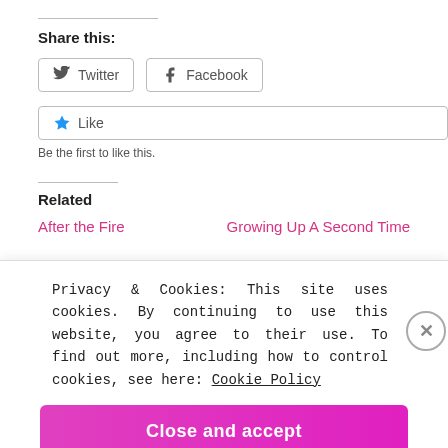Share this:
Twitter  Facebook
Like  Be the first to like this.
Related
After the Fire    Growing Up A Second Time
Privacy & Cookies: This site uses cookies. By continuing to use this website, you agree to their use. To find out more, including how to control cookies, see here: Cookie Policy
Close and accept